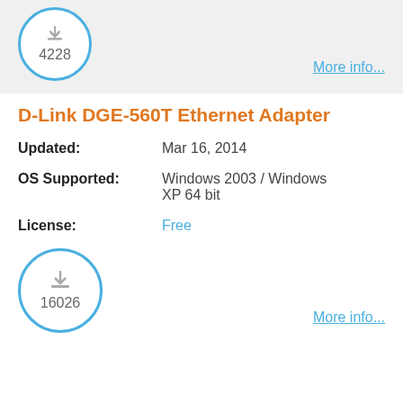[Figure (other): Download count badge circle with number 4228]
More info...
D-Link DGE-560T Ethernet Adapter
Updated: Mar 16, 2014
OS Supported: Windows 2003 / Windows XP 64 bit
License: Free
[Figure (other): Download count badge circle with download icon and number 16026]
More info...